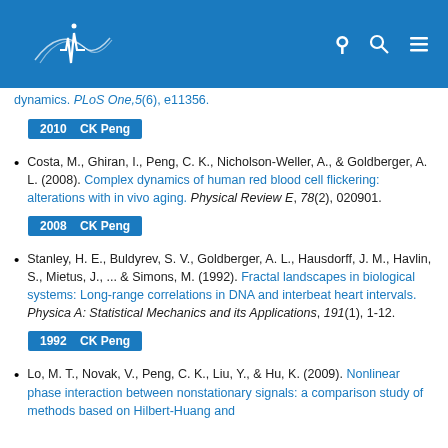Website header with logo and navigation icons
dynamics. PLoS One,5(6), e11356.
2010   CK Peng
Costa, M., Ghiran, I., Peng, C. K., Nicholson-Weller, A., & Goldberger, A. L. (2008). Complex dynamics of human red blood cell flickering: alterations with in vivo aging. Physical Review E, 78(2), 020901.
2008   CK Peng
Stanley, H. E., Buldyrev, S. V., Goldberger, A. L., Hausdorff, J. M., Havlin, S., Mietus, J., ... & Simons, M. (1992). Fractal landscapes in biological systems: Long-range correlations in DNA and interbeat heart intervals. Physica A: Statistical Mechanics and its Applications, 191(1), 1-12.
1992   CK Peng
Lo, M. T., Novak, V., Peng, C. K., Liu, Y., & Hu, K. (2009). Nonlinear phase interaction between nonstationary signals: a comparison study of methods based on Hilbert-Huang and